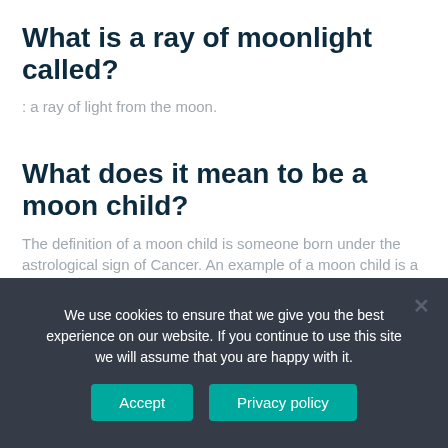What is a ray of moonlight called?
: a ray of light from the moon.
What does it mean to be a moon child?
The definition of a moon child is someone born under the astrological sign of Cancer. An example of a moon child is a person born on July 25th.
Is Moonbeam a word?
We use cookies to ensure that we give you the best experience on our website. If you continue to use this site we will assume that you are happy with it.